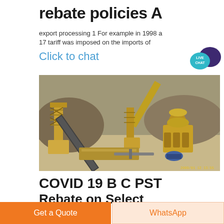rebate policies A
export processing 1 For example in 1998 a 17 tariff was imposed on the imports of
Click to chat
[Figure (photo): Aerial/overhead view of industrial mining or crushing equipment including conveyor belts, crushers, and structural scaffolding at a quarry or mining site. Timestamp visible: 2009/01 12 13:55]
COVID 19 B C PST Rebate on Select
Get a Quote
WhatsApp